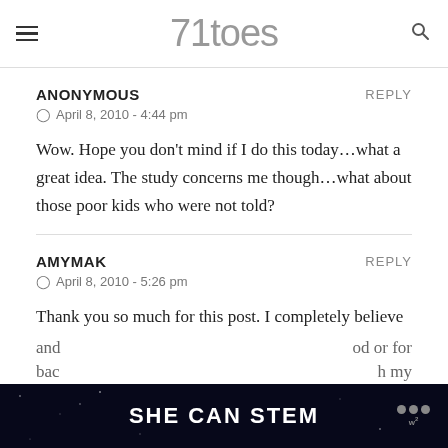71toes
ANONYMOUS
April 8, 2010 - 4:44 pm
Wow. Hope you don't mind if I do this today…what a great idea. The study concerns me though…what about those poor kids who were not told?
AMYMAK
April 8, 2010 - 5:26 pm
Thank you so much for this post. I completely believe it. We give kids labels at a very young age and b/c they are so little and...
[Figure (infographic): SHE CAN STEM advertisement banner at the bottom of the page with dark background and white bold text]